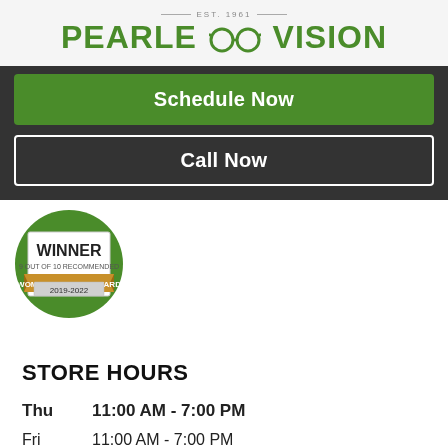[Figure (logo): Pearle Vision logo with EST. 1961 text above and two overlapping circles representing glasses between PEARLE and VISION in green bold text]
Schedule Now
Call Now
[Figure (illustration): Women's Choice Award badge - WINNER, 9 OUT OF 10 RECOMMENDED, WOMEN'S CHOICE AWARD, 2019-2022, on a green circular badge with gold/silver ribbon]
STORE HOURS
| Day | Hours |
| --- | --- |
| Thu | 11:00 AM - 7:00 PM |
| Fri | 11:00 AM - 7:00 PM |
| Sat | 11:00 AM - 7:00 PM |
| Sun | 11:00 AM - 6:00 PM |
| Mon | 11:00 AM - 7:00 PM |
| Tue | 11:00 AM - 7:00 PM |